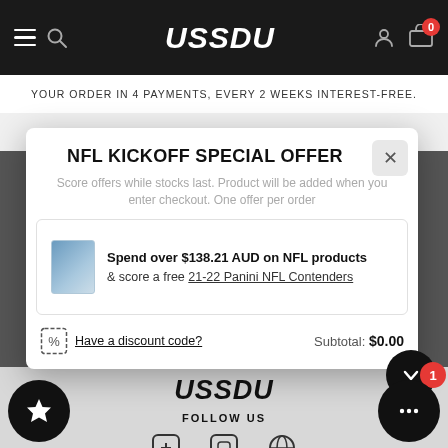USSDU
YOUR ORDER IN 4 PAYMENTS, EVERY 2 WEEKS INTEREST-FREE.
READ MORE
NFL KICKOFF SPECIAL OFFER
Score offers while stocks last. Product will be added when you enter checkout. One offer per order
Spend over $138.21 AUD on NFL products & score a free 21-22 Panini NFL Contenders
Have a discount code?  Subtotal: $0.00
USSDU
FOLLOW US